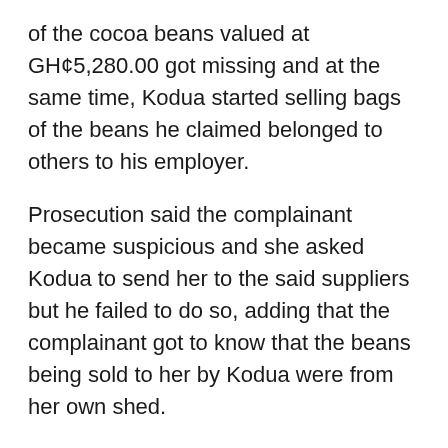of the cocoa beans valued at GH¢5,280.00 got missing and at the same time, Kodua started selling bags of the beans he claimed belonged to others to his employer.
Prosecution said the complainant became suspicious and she asked Kodua to send her to the said suppliers but he failed to do so, adding that the complainant got to know that the beans being sold to her by Kodua were from her own shed.
Detective Chief Inspector Ofori said a report was made to the police leading to the arrest of Kodua.
He said after investigation he was arraigned.